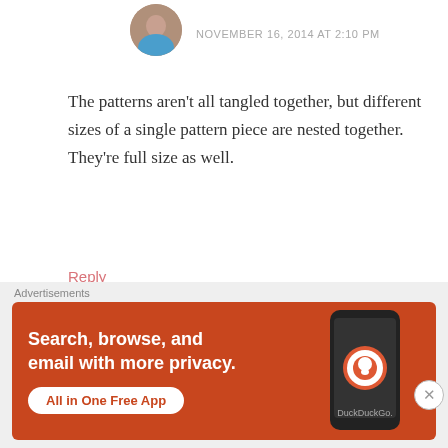NOVEMBER 16, 2014 AT 2:10 PM
The patterns aren't all tangled together, but different sizes of a single pattern piece are nested together. They're full size as well.
Reply
[Figure (photo): User avatar circular photo of person in blue top]
[Figure (photo): User avatar circular photo of lisa g, woman in green top, dashed pink border]
lisa g
NOVEMBER 16, 2014 AT 4:52 AM
[Figure (screenshot): DuckDuckGo advertisement banner with text: Search, browse, and email with more privacy. All in One Free App. Shows a phone with DuckDuckGo logo.]